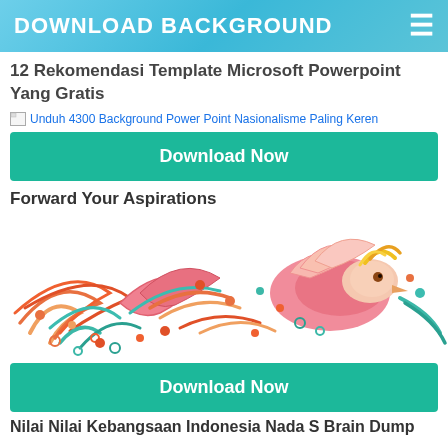DOWNLOAD BACKGROUND
12 Rekomendasi Template Microsoft Powerpoint Yang Gratis
[Figure (other): Broken image placeholder with alt text: Unduh 4300 Background Power Point Nasionalisme Paling Keren]
Download Now
Forward Your Aspirations
[Figure (illustration): Colorful quilling art illustration of a phoenix/bird with decorative swirls in orange, red, teal, pink, and yellow colors on a white background]
Download Now
Nilai Nilai Kebangsaan Indonesia Nada S Brain Dump